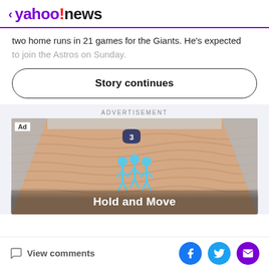< yahoo!news
two home runs in 21 games for the Giants. He's expected to join the Astros on Sunday.
Story continues
ADVERTISEMENT
[Figure (screenshot): Advertisement image showing a mobile game called 'Hold and Move' with blue stick figures walking on a sandy path. An 'Ad' label is in the top-left corner and the number 3 appears in a dark badge at the top.]
View comments | Facebook | Twitter | Email